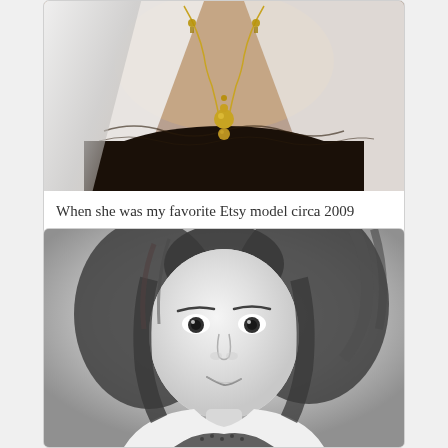[Figure (photo): Close-up photograph of a person's torso wearing a black top with white draped fabric and a gold chain necklace with pendant, circa 2009 Etsy listing photo]
When she was my favorite Etsy model circa 2009
[Figure (photo): Black and white portrait photo of a young woman with medium-length hair, looking at the camera with a slight smile, wearing a white top with a dark patterned garment beneath]